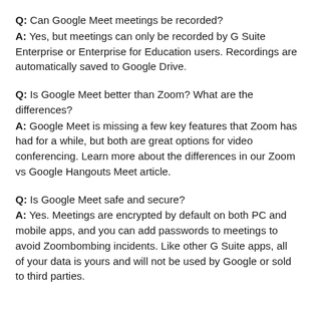Q: Can Google Meet meetings be recorded? A: Yes, but meetings can only be recorded by G Suite Enterprise or Enterprise for Education users. Recordings are automatically saved to Google Drive.
Q: Is Google Meet better than Zoom? What are the differences? A: Google Meet is missing a few key features that Zoom has had for a while, but both are great options for video conferencing. Learn more about the differences in our Zoom vs Google Hangouts Meet article.
Q: Is Google Meet safe and secure? A: Yes. Meetings are encrypted by default on both PC and mobile apps, and you can add passwords to meetings to avoid Zoombombing incidents. Like other G Suite apps, all of your data is yours and will not be used by Google or sold to third parties.